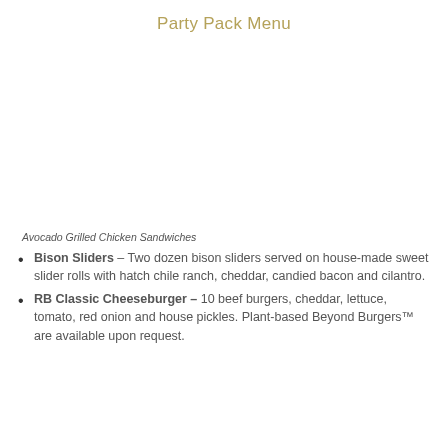Party Pack Menu
[Figure (photo): Photo of Avocado Grilled Chicken Sandwiches]
Avocado Grilled Chicken Sandwiches
Bison Sliders – Two dozen bison sliders served on house-made sweet slider rolls with hatch chile ranch, cheddar, candied bacon and cilantro.
RB Classic Cheeseburger – 10 beef burgers, cheddar, lettuce, tomato, red onion and house pickles. Plant-based Beyond Burgers™ are available upon request.